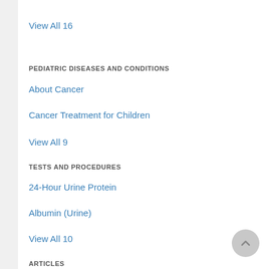View All 16
PEDIATRIC DISEASES AND CONDITIONS
About Cancer
Cancer Treatment for Children
View All 9
TESTS AND PROCEDURES
24-Hour Urine Protein
Albumin (Urine)
View All 10
ARTICLES
10 Types of Complementary Cancer Therapy
Bladder Cancer: Chemotherapy